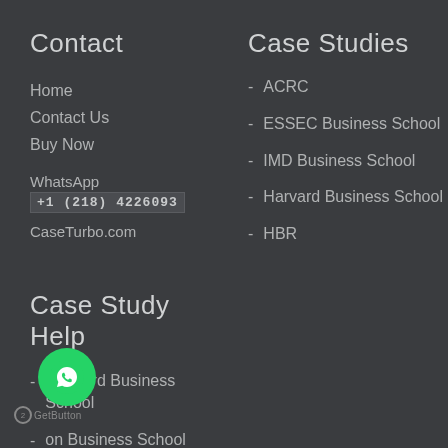Contact
Home
Contact Us
Buy Now
WhatsApp
+1 (218) 4226093
CaseTurbo.com
Case Studies
ACRC
ESSEC Business School
IMD Business School
Harvard Business School
HBR
Case Study Help
Stanford Business School
on Business School
Insead Business School
Darden Business School